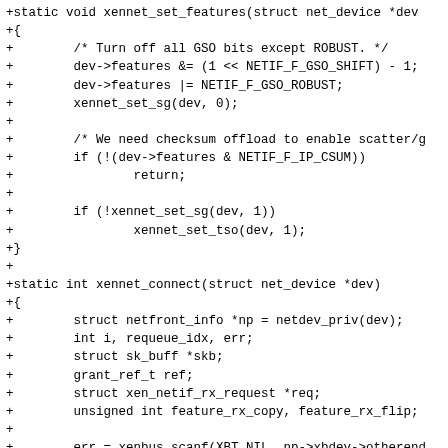+static void xennet_set_features(struct net_device *dev
+{
+        /* Turn off all GSO bits except ROBUST. */
+        dev->features &= (1 << NETIF_F_GSO_SHIFT) - 1;
+        dev->features |= NETIF_F_GSO_ROBUST;
+        xennet_set_sg(dev, 0);
+
+        /* We need checksum offload to enable scatter/g
+        if (!(dev->features & NETIF_F_IP_CSUM))
+                return;
+
+        if (!xennet_set_sg(dev, 1))
+                xennet_set_tso(dev, 1);
+}
+
+static int xennet_connect(struct net_device *dev)
+{
+        struct netfront_info *np = netdev_priv(dev);
+        int i, requeue_idx, err;
+        struct sk_buff *skb;
+        grant_ref_t ref;
+        struct xen_netif_rx_request *req;
+        unsigned int feature_rx_copy, feature_rx_flip;
+
+        err = xenbus_scanf(XBT_NIL, np->xbdev->otherend
+                          "feature-rx-copy", "%u", &fe
+        if (err != 1)
+                feature_rx_copy = 0;
+
+        err = xenbus_scanf(XBT_NIL, np->xbdev->otherend